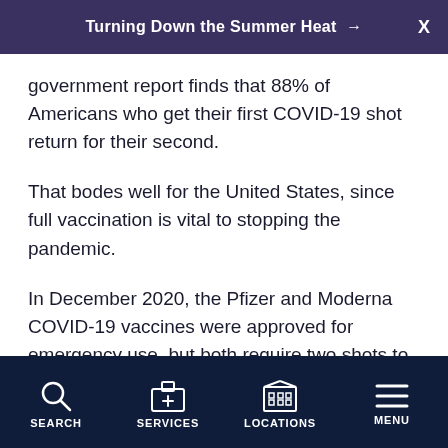Turning Down the Summer Heat →
government report finds that 88% of Americans who get their first COVID-19 shot return for their second.
That bodes well for the United States, since full vaccination is vital to stopping the pandemic.
In December 2020, the Pfizer and Moderna COVID-19 vaccines were approved for emergency use, but both require two shots to get full protection. The recommended interval between doses is 21 days for Pfizer's vaccine and 28 days for Moderna, although 42 days between doses is permissible when a delay is unavoidable, according to researchers with the U.S.
SEARCH  SERVICES  LOCATIONS  MENU